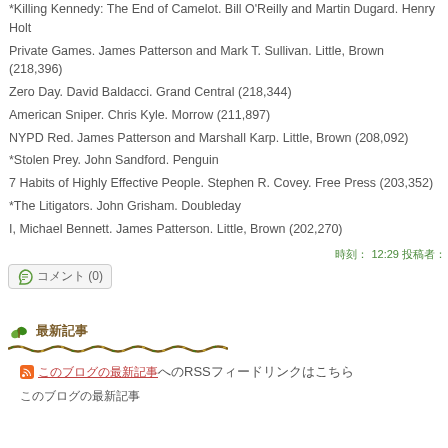*Killing Kennedy: The End of Camelot. Bill O'Reilly and Martin Dugard. Henry Holt
Private Games. James Patterson and Mark T. Sullivan. Little, Brown (218,396)
Zero Day. David Baldacci. Grand Central (218,344)
American Sniper. Chris Kyle. Morrow (211,897)
NYPD Red. James Patterson and Marshall Karp. Little, Brown (208,092)
*Stolen Prey. John Sandford. Penguin
7 Habits of Highly Effective People. Stephen R. Covey. Free Press (203,352)
*The Litigators. John Grisham. Doubleday
I, Michael Bennett. James Patterson. Little, Brown (202,270)
時刻: 12:29 投稿者:
コメント (0)
最新記事
このブログの最新記事へのRSSフィードリンク
このブログの最新記事